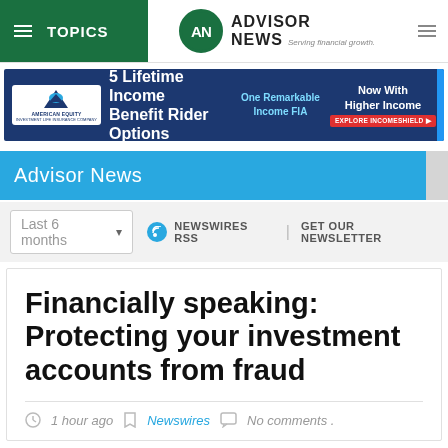TOPICS | Advisor News — Serving financial growth.
[Figure (infographic): American Equity advertisement banner: 5 Lifetime Income Benefit Rider Options — One Remarkable Income FIA — Now With Higher Income — EXPLORE INCOMESHIELD]
Advisor News
Last 6 months  NEWSWIRES RSS  |  GET OUR NEWSLETTER
Financially speaking: Protecting your investment accounts from fraud
1 hour ago  Newswires  No comments .